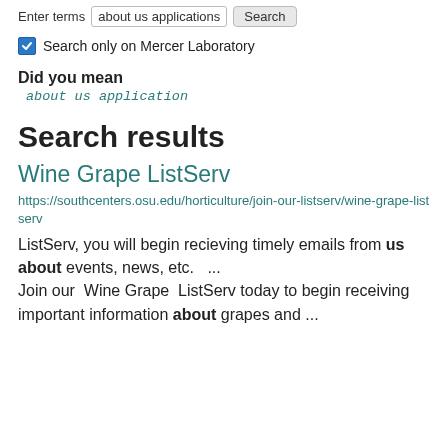Enter terms  about us applications  Search
Search only on Mercer Laboratory
Did you mean
about us application
Search results
Wine Grape ListServ
https://southcenters.osu.edu/horticulture/join-our-listserv/wine-grape-listserv
ListServ, you will begin recieving timely emails from us about events, news, etc.  ... Join our Wine Grape ListServ today to begin receiving important information about grapes and ...